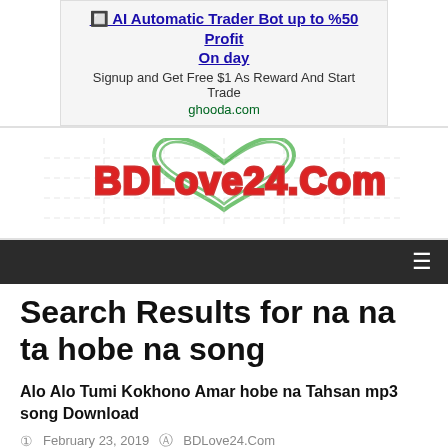[Figure (infographic): Advertisement banner: AI Automatic Trader Bot up to %50 Profit On day. Signup and Get Free $1 As Reward And Start Trade. ghooda.com]
[Figure (logo): BDLove24.Com logo with green heart shape and red/white stylized text]
Navigation bar with hamburger menu icon
Search Results for na na ta hobe na song
Alo Alo Tumi Kokhono Amar hobe na Tahsan mp3 song Download
February 23, 2019   BDLove24.Com